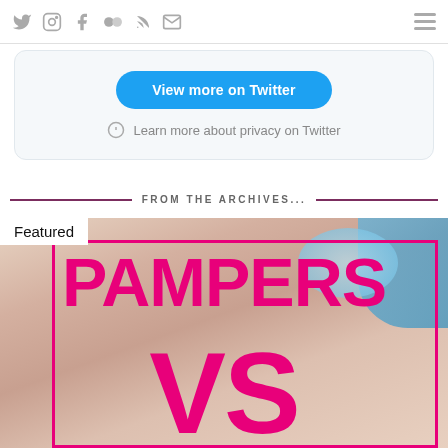Navigation bar with social icons: Twitter, Instagram, Facebook, Flickr, RSS, Email and hamburger menu
[Figure (screenshot): Twitter embedded widget card with 'View more on Twitter' blue button and 'Learn more about privacy on Twitter' link with info icon]
FROM THE ARCHIVES...
[Figure (photo): Featured image showing a baby with pink 'PAMPERS VS' text overlay in bold, with pink border frame and 'Featured' label in top left corner]